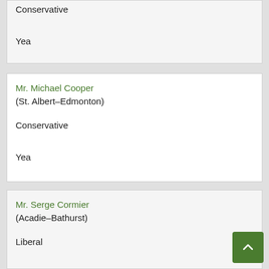| Name | Riding | Party | Vote |
| --- | --- | --- | --- |
|  |  | Conservative | Yea |
| Mr. Michael Cooper | (St. Albert–Edmonton) | Conservative | Yea |
| Mr. Serge Cormier | (Acadie–Bathurst) | Liberal | Yea |